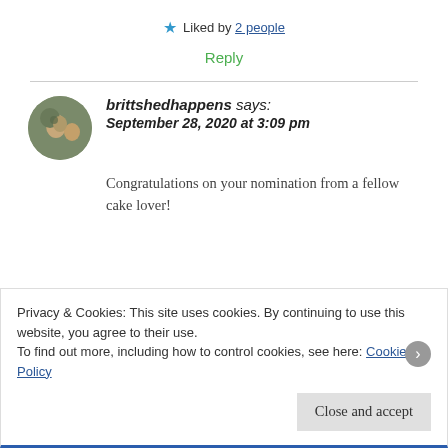★ Liked by 2 people
Reply
brittshedhappens says: September 28, 2020 at 3:09 pm
Congratulations on your nomination from a fellow cake lover!
Privacy & Cookies: This site uses cookies. By continuing to use this website, you agree to their use.
To find out more, including how to control cookies, see here: Cookie Policy